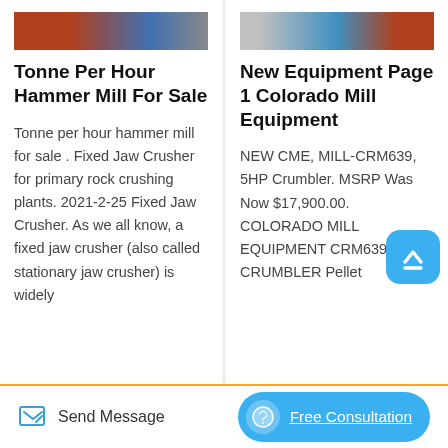[Figure (photo): Thumbnail image of hammer mill equipment, left column]
Tonne Per Hour Hammer Mill For Sale
Tonne per hour hammer mill for sale . Fixed Jaw Crusher for primary rock crushing plants. 2021-2-25 Fixed Jaw Crusher. As we all know, a fixed jaw crusher (also called stationary jaw crusher) is widely
[Figure (photo): Thumbnail image of Colorado Mill Equipment, right column]
New Equipment Page 1 Colorado Mill Equipment
NEW CME, MILL-CRM639, 5HP Crumbler. MSRP Was Now $17,900.00. COLORADO MILL EQUIPMENT CRM639 CRUMBLER Pellet
Send Message
Free Consultation